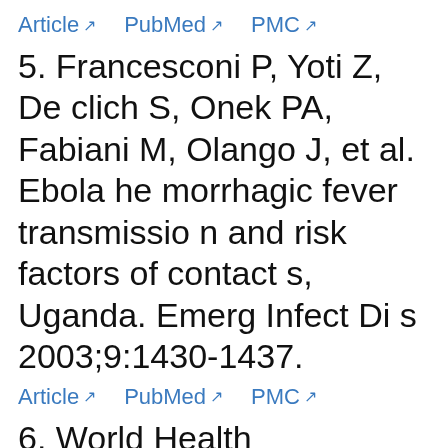Article  PubMed  PMC
5. Francesconi P, Yoti Z, De clich S, Onek PA, Fabiani M, Olango J, et al. Ebola hemorrhagic fever transmission and risk factors of contacts, Uganda. Emerg Infect Dis 2003;9:1430-1437.
Article  PubMed  PMC
6. World Health Organization. Ebola situation reports: a